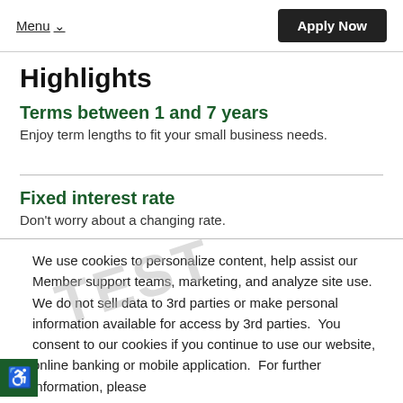Menu  Apply Now
Highlights
Terms between 1 and 7 years
Enjoy term lengths to fit your small business needs.
Fixed interest rate
Don't worry about a changing rate.
We use cookies to personalize content, help assist our Member support teams, marketing, and analyze site use. We do not sell data to 3rd parties or make personal information available for access by 3rd parties. You consent to our cookies if you continue to use our website, online banking or mobile application. For further information, please